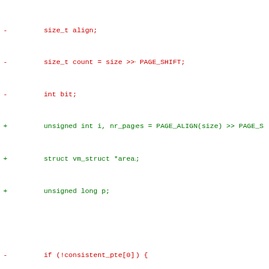Code diff showing removed (-) and added (+) lines in C source code
- size_t align;
- size_t count = size >> PAGE_SHIFT;
- int bit;
+ unsigned int i, nr_pages = PAGE_ALIGN(size) >> PAGE_S
+ struct vm_struct *area;
+ unsigned long p;
- if (!consistent_pte[0]) {
- pr_err("%s: not initialised\n", __func__);
- dump_stack();
+ area = get_vm_area_caller(size, VM_ARM_DMA_CONSISTENT
+ caller);
+ if (!area)
return NULL;
- }
- /*
- * Align the virtual region allocation - maximum alig
- * a section size, minimum is a page size. This help
- * fragmentation of the DMA space, and also prevents
- * smaller than a section from crossing a section bou
- */
- bit = fls(size - 1);
- if (bit > SECTION_SHIFT)
- bit = SECTION_SHIFT;